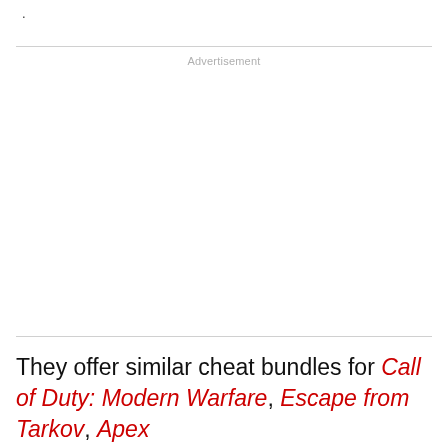.
Advertisement
They offer similar cheat bundles for Call of Duty: Modern Warfare, Escape from Tarkov, Apex